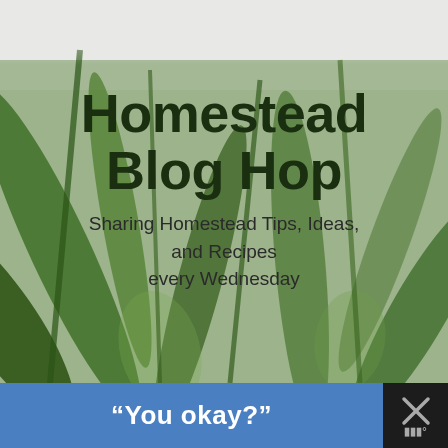[Figure (illustration): Homestead Blog Hop promotional image with blurred green herb/plant background and overlaid bold text reading 'Homestead Blog Hop - Sharing Homestead Tips, Ideas, and Recipes every Wednesday']
“You okay?”